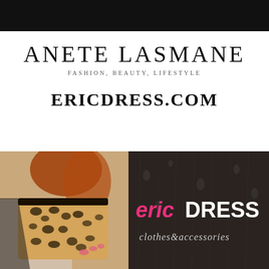ANETE LASMANE
FASHION, BEAUTY, LIFESTYLE
ERICDRESS.COM
[Figure (photo): Left: woman holding a leopard print clutch bag with black leather trim, pink nails visible. Right: dark background with ERICDRESS logo in pink and white, with 'clothes&accessories' tagline in cursive script below.]